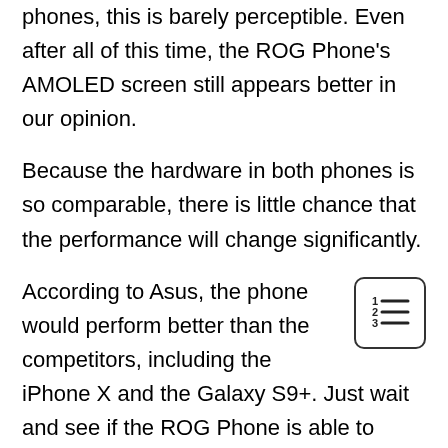phones, this is barely perceptible. Even after all of this time, the ROG Phone's AMOLED screen still appears better in our opinion.
Because the hardware in both phones is so comparable, there is little chance that the performance will change significantly.
According to Asus, the phone would perform better than the competitors, including the iPhone X and the Galaxy S9+. Just wait and see if the ROG Phone is able to capture and hold the lead with physical force alone
For a more in-depth look at how these two gaming phones stack up, head over to GSMArena and